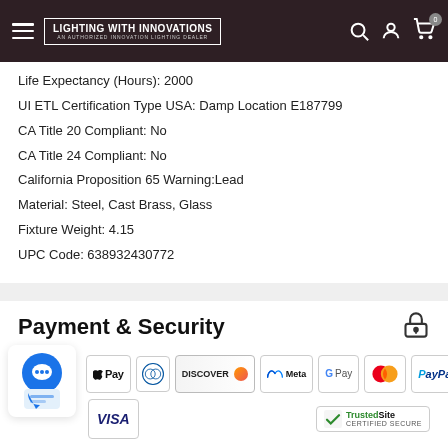LIGHTING WITH INNOVATIONS — AN AUTHORIZED INNOVATION LIGHTING DEALER
Life Expectancy (Hours): 2000
UI ETL Certification Type USA: Damp Location E187799
CA Title 20 Compliant: No
CA Title 24 Compliant: No
California Proposition 65 Warning:Lead
Material: Steel, Cast Brass, Glass
Fixture Weight: 4.15
UPC Code: 638932430772
Payment & Security
[Figure (logo): Payment method logos: Apple Pay, Diners Club, Discover, Meta Pay, Google Pay, Mastercard, PayPal, Shop Pay, Visa, and TrustedSite Certified Secure badge]